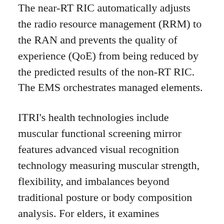The near-RT RIC automatically adjusts the radio resource management (RRM) to the RAN and prevents the quality of experience (QoE) from being reduced by the predicted results of the non-RT RIC. The EMS orchestrates managed elements.
ITRI's health technologies include muscular functional screening mirror features advanced visual recognition technology measuring muscular strength, flexibility, and imbalances beyond traditional posture or body composition analysis. For elders, it examines functional health and early signs of frailty. The screening involves the user performing simple poses. The system provides clear and friendly audiovisual instructions and a printed personalized exercise plan based on the results.
[partial paragraph continues below]